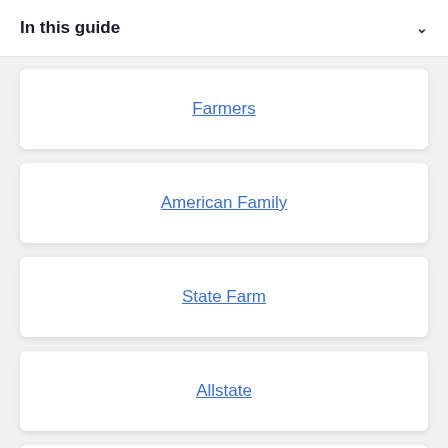In this guide
Farmers
American Family
State Farm
Allstate